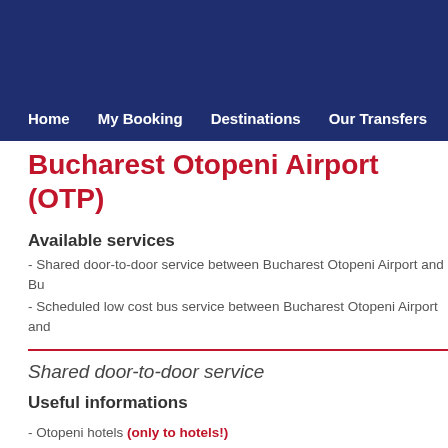Home   My Booking   Destinations   Our Transfers
Bucharest Otopeni Airport (OTP)
Available services
- Shared door-to-door service between Bucharest Otopeni Airport and Bu...
- Scheduled low cost bus service between Bucharest Otopeni Airport and...
Shared door-to-door service
Useful informations
- Otopeni hotels (only to hotels!)
- Bucharest city